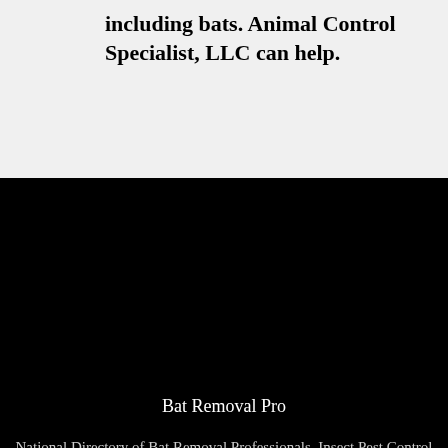including bats. Animal Control Specialist, LLC can help.
Bat Removal Pro
National Directory of Bat Removal Professionals, Insect Pest Control and Removal Professionals, and Wildlife Removal and Control Professionals
We Are The Bat Masters – We Get Rid Of Bats